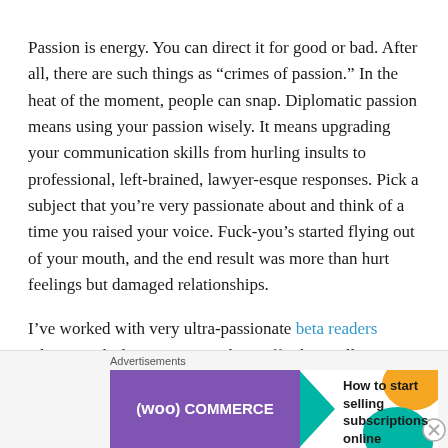Passion is energy. You can direct it for good or bad. After all, there are such things as “crimes of passion.” In the heat of the moment, people can snap. Diplomatic passion means using your passion wisely. It means upgrading your communication skills from hurling insults to professional, left-brained, lawyer-esque responses. Pick a subject that you’re very passionate about and think of a time you raised your voice. Fuck-you’s started flying out of your mouth, and the end result was more than hurt feelings but damaged relationships.
I’ve worked with very ultra-passionate beta readers where any little critique sets them off. They will argue and argue
[Figure (other): WooCommerce advertisement banner: purple background with WooCommerce logo, green arrow, and text 'How to start selling subscriptions online' with orange and teal decorative shapes]